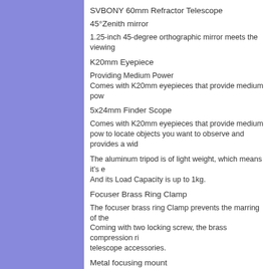SVBONY 60mm Refractor Telescope
45°Zenith mirror
1.25-inch 45-degree orthographic mirror meets the viewing
K20mm Eyepiece
Providing Medium Power
Comes with K20mm eyepieces that provide medium pow
5x24mm Finder Scope
Comes with K20mm eyepieces that provide medium pow to locate objects you want to observe and provides a wid
The aluminum tripod is of light weight, which means it's e And its Load Capacity is up to 1kg.
Focuser Brass Ring Clamp
The focuser brass ring Clamp prevents the marring of the Coming with two locking screw, the brass compression ri telescope accessories.
Metal focusing mount
The focusing mount with metal interface has higher accu the optical axis, and enhancing the observation experien
The SV501P is a perfect gift with all accessories for a lea vivid and impressive stargazing memory to themselves. a